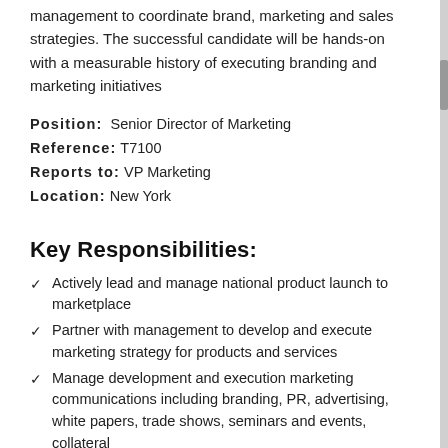management to coordinate brand, marketing and sales strategies. The successful candidate will be hands-on with a measurable history of executing branding and marketing initiatives
Position: Senior Director of Marketing
Reference: T7100
Reports to: VP Marketing
Location: New York
Key Responsibilities:
Actively lead and manage national product launch to marketplace
Partner with management to develop and execute marketing strategy for products and services
Manage development and execution marketing communications including branding, PR, advertising, white papers, trade shows, seminars and events, collateral
Manage marketing initiatives for new products